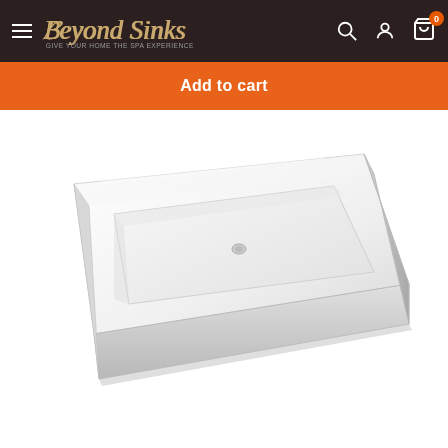Beyond Sinks — navigation bar with hamburger menu, search, account, and cart (0 items)
Add to cart
[Figure (photo): White rectangular vessel/countertop bathroom sink with a drain hole in the center, photographed at an angle on a white background.]